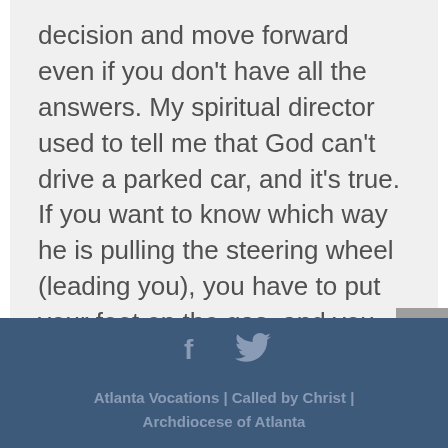decision and move forward even if you don't have all the answers. My spiritual director used to tell me that God can't drive a parked car, and it's true. If you want to know which way he is pulling the steering wheel (leading you), you have to put your foot on the gas, and you will figure it out very quickly!
[Figure (other): Gray scroll-to-top button with upward arrow caret, positioned at the right edge]
Atlanta Vocations | Called by Christ | Archdiocese of Atlanta